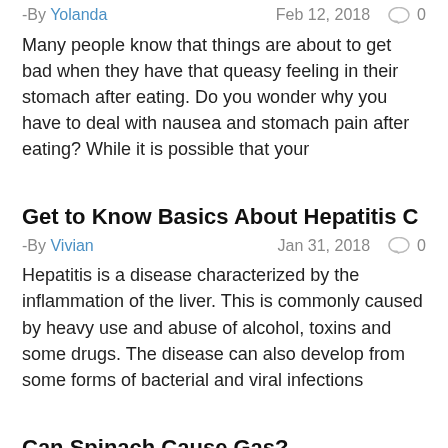-By Yolanda   Feb 12, 2018   0
Many people know that things are about to get bad when they have that queasy feeling in their stomach after eating. Do you wonder why you have to deal with nausea and stomach pain after eating? While it is possible that your
Get to Know Basics About Hepatitis C
-By Vivian   Jan 31, 2018   0
Hepatitis is a disease characterized by the inflammation of the liver. This is commonly caused by heavy use and abuse of alcohol, toxins and some drugs. The disease can also develop from some forms of bacterial and viral infections
Can Spinach Cause Gas?
-By Vivian   Jan 17, 2018   0
With its high nutritional content and related health benefits,